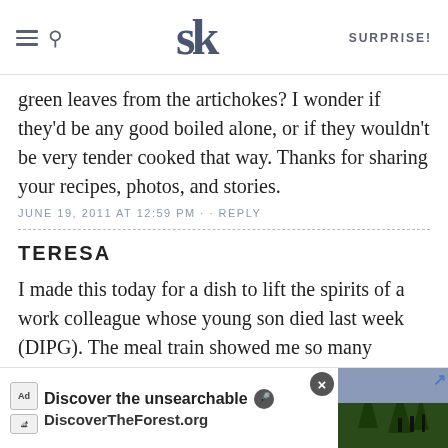SK | SURPRISE!
green leaves from the artichokes? I wonder if they'd be any good boiled alone, or if they wouldn't be very tender cooked that way. Thanks for sharing your recipes, photos, and stories.
JUNE 19, 2011 AT 12:59 PM · · REPLY
TERESA
I made this today for a dish to lift the spirits of a work colleague whose young son died last week (DIPG). The meal train showed me so many noodle and sauce and cheese dishes that I wanted something different, something lemoney and bright, to at least put some sunshine in their mouths at such a sad time. It turned out so lovely, even with some tweaks: I sauteed boneless chicken thighs with the onions, and had to use canned artichokes and bacon. Served it with a fresh boule and a spring fruit sala… Thanks f…
[Figure (screenshot): Ad banner at bottom: 'Discover the unsearchable / DiscoverTheForest.org' with forest image and close button]